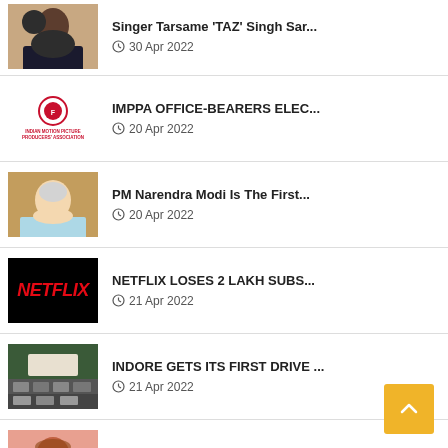Singer Tarsame 'TAZ' Singh Sar... | 30 Apr 2022
IMPPA OFFICE-BEARERS ELEC... | 20 Apr 2022
PM Narendra Modi Is The First... | 20 Apr 2022
NETFLIX LOSES 2 LAKH SUBS... | 21 Apr 2022
INDORE GETS ITS FIRST DRIVE ... | 21 Apr 2022
Lyricist Maya Govind Passed A... | 07 Apr 2022